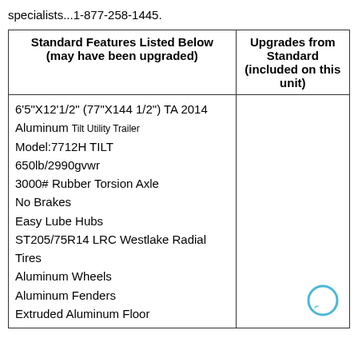specialists...1-877-258-1445.
| Standard Features Listed Below (may have been upgraded) | Upgrades from Standard (included on this unit) |
| --- | --- |
| 6'5"X12'1/2" (77"X144 1/2") TA 2014 Aluminum Tilt Utility Trailer
Model:7712H TILT
650lb/2990gvwr
3000# Rubber Torsion Axle
No Brakes
Easy Lube Hubs
ST205/75R14 LRC Westlake Radial Tires
Aluminum Wheels
Aluminum Fenders
Extruded Aluminum Floor |  |